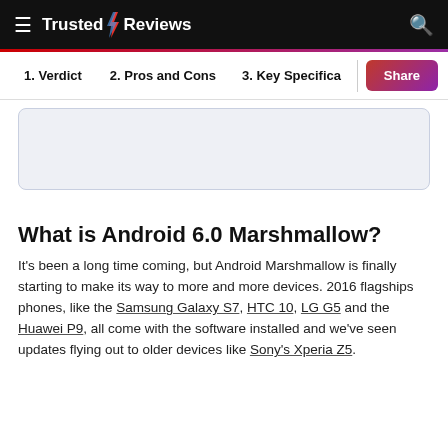Trusted Reviews
1. Verdict  2. Pros and Cons  3. Key Specifica  Share
[Figure (other): Light blue advertisement placeholder box]
What is Android 6.0 Marshmallow?
It's been a long time coming, but Android Marshmallow is finally starting to make its way to more and more devices. 2016 flagships phones, like the Samsung Galaxy S7, HTC 10, LG G5 and the Huawei P9, all come with the software installed and we've seen updates flying out to older devices like Sony's Xperia Z5.